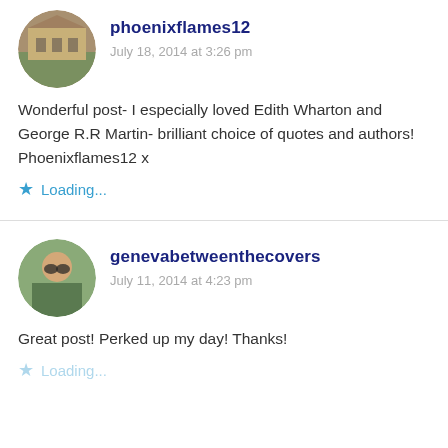phoenixflames12
July 18, 2014 at 3:26 pm
Wonderful post- I especially loved Edith Wharton and George R.R Martin- brilliant choice of quotes and authors! Phoenixflames12 x
Loading...
genevabetweenthecovers
July 11, 2014 at 4:23 pm
Great post! Perked up my day! Thanks!
Loading...